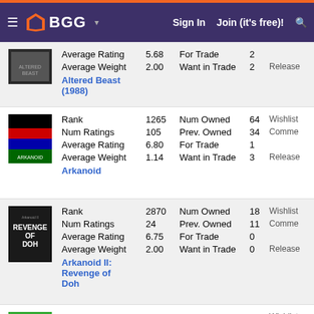BGG – Sign In  Join (it's free)!
| Game | Stat | Value | Stat | Value | More |
| --- | --- | --- | --- | --- | --- |
| Altered Beast (1988) | Average Rating | 5.68 | For Trade | 2 |  |
|  | Average Weight | 2.00 | Want in Trade | 2 | Release... |
| Arkanoid | Rank | 1265 | Num Owned | 64 | Wishlist... |
|  | Num Ratings | 105 | Prev. Owned | 34 | Comme... |
|  | Average Rating | 6.80 | For Trade | 1 |  |
|  | Average Weight | 1.14 | Want in Trade | 3 | Release... |
| Arkanoid II: Revenge of Doh | Rank | 2870 | Num Owned | 18 | Wishlist... |
|  | Num Ratings | 24 | Prev. Owned | 11 | Comme... |
|  | Average Rating | 6.75 | For Trade | 0 |  |
|  | Average Weight | 2.00 | Want in Trade | 0 | Release... |
| Bad Dudes Vs. | Rank | 7582 | Num Owned | 39 | Wishlist... |
|  | Num Ratings | 19 | Prev. Owned | 0 | Comme... |
|  | Average Rating | 5.43 | For Trade | 1 |  |
|  | Average Weight | 2.00 | Want in Trade | 0 | Release... |